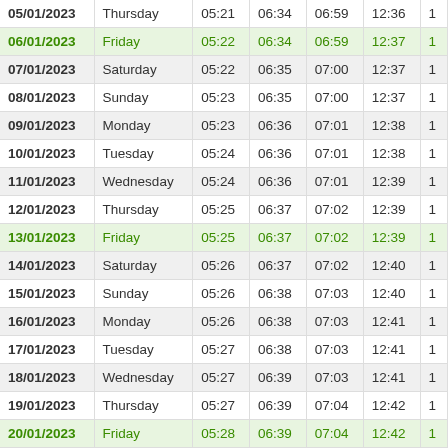| Date | Day | Col3 | Col4 | Col5 | Col6 | Col7 |
| --- | --- | --- | --- | --- | --- | --- |
| 05/01/2023 | Thursday | 05:21 | 06:34 | 06:59 | 12:36 | 1 |
| 06/01/2023 | Friday | 05:22 | 06:34 | 06:59 | 12:37 | 1 |
| 07/01/2023 | Saturday | 05:22 | 06:35 | 07:00 | 12:37 | 1 |
| 08/01/2023 | Sunday | 05:23 | 06:35 | 07:00 | 12:37 | 1 |
| 09/01/2023 | Monday | 05:23 | 06:36 | 07:01 | 12:38 | 1 |
| 10/01/2023 | Tuesday | 05:24 | 06:36 | 07:01 | 12:38 | 1 |
| 11/01/2023 | Wednesday | 05:24 | 06:36 | 07:01 | 12:39 | 1 |
| 12/01/2023 | Thursday | 05:25 | 06:37 | 07:02 | 12:39 | 1 |
| 13/01/2023 | Friday | 05:25 | 06:37 | 07:02 | 12:39 | 1 |
| 14/01/2023 | Saturday | 05:26 | 06:37 | 07:02 | 12:40 | 1 |
| 15/01/2023 | Sunday | 05:26 | 06:38 | 07:03 | 12:40 | 1 |
| 16/01/2023 | Monday | 05:26 | 06:38 | 07:03 | 12:41 | 1 |
| 17/01/2023 | Tuesday | 05:27 | 06:38 | 07:03 | 12:41 | 1 |
| 18/01/2023 | Wednesday | 05:27 | 06:39 | 07:03 | 12:41 | 1 |
| 19/01/2023 | Thursday | 05:27 | 06:39 | 07:04 | 12:42 | 1 |
| 20/01/2023 | Friday | 05:28 | 06:39 | 07:04 | 12:42 | 1 |
| 21/01/2023 | Saturday | 05:28 | 06:39 | 07:04 | 12:42 | 1 |
| 22/01/2023 | Sunday | 05:29 | 06:40 | 07:04 | 12:42 | 1 |